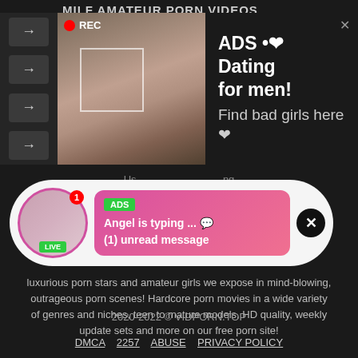MILF AMATEUR PORN VIDEOS
[Figure (screenshot): Ad banner with photo of woman taking selfie, REC indicator, and text: ADS • Dating for men! Find bad girls here]
[Figure (screenshot): Popup ad overlay with avatar photo, LIVE badge, pink gradient message box with ADS badge reading: Angel is typing ... (1) unread message, and close button]
Us... ...ng This ... tube that is ... ntent. W... ...e produ... ...busty, luxurious porn stars and amateur girls we expose in mind-blowing, outrageous porn scenes! Hardcore porn movies in a wide variety of genres and niches, teen to mature models, HD quality, weekly update sets and more on our free porn site!
2020-2022 © VIDPORN.TOP
DMCA   2257   ABUSE   PRIVACY POLICY